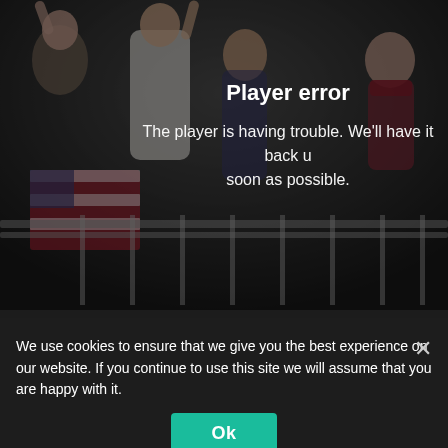[Figure (screenshot): A darkened photo of a cheering crowd at an event, with people raising fists and holding American flags. A 'Player error' message is overlaid on the right side of the image reading: 'Player error — The player is having trouble. We'll have it back up as soon as possible.']
We use cookies to ensure that we give you the best experience on our website. If you continue to use this site we will assume that you are happy with it.
Ok
SUPERFOODS
Nanogreen; ingredients are a combination of